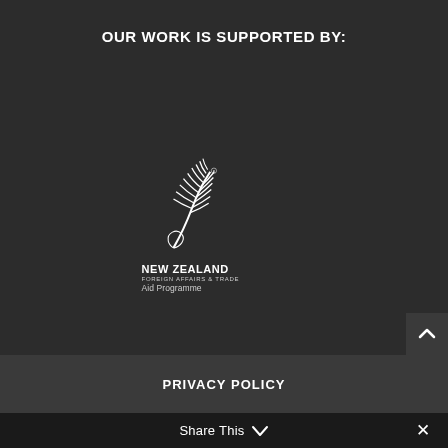OUR WORK IS SUPPORTED BY:
[Figure (logo): New Zealand Foreign Affairs & Trade Aid Programme fern logo with white fern illustration and text 'NEW ZEALAND FOREIGN AFFAIRS & TRADE Aid Programme']
PRIVACY POLICY
Share This ∨ ✕